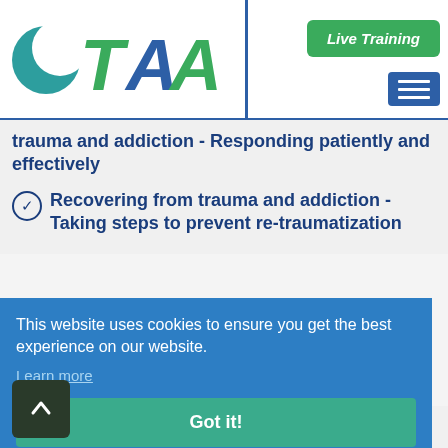[Figure (logo): TAA logo with teal circular icon and green/blue TAA letters]
Live Training
trauma and addiction - Responding patiently and effectively
Recovering from trauma and addiction - Taking steps to prevent re-traumatization
This website uses cookies to ensure you get the best experience on our website.
Learn more
Got it!
Levels of trauma and recognizing